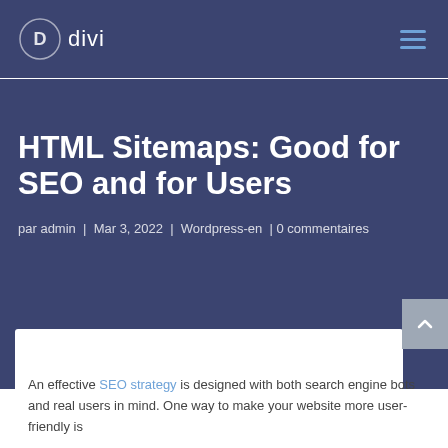Divi
HTML Sitemaps: Good for SEO and for Users
par admin | Mar 3, 2022 | Wordpress-en | 0 commentaires
An effective SEO strategy is designed with both search engine bots and real users in mind. One way to make your website more user-friendly is